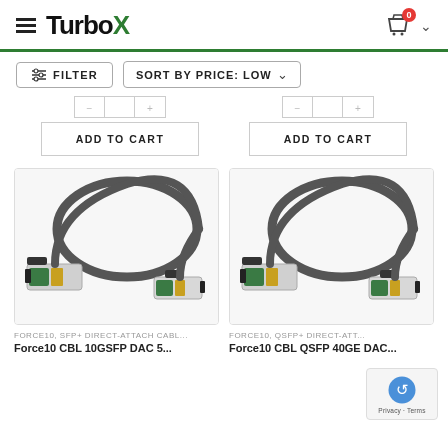TurboX - online shop header with hamburger menu, logo, cart icon (0 items), and chevron
FILTER | SORT BY PRICE: LOW
[Figure (screenshot): Partial view of quantity selectors for two products, partially visible at top]
ADD TO CART (left product)
ADD TO CART (right product)
[Figure (photo): Force10 SFP+ Direct-Attach Cable product image showing a dark loopback DAC cable with SFP+ connectors]
[Figure (photo): Force10 QSFP+ Direct-Attach cable product image showing a dark loopback DAC cable with QSFP+ connectors]
FORCE10, SFP+ DIRECT-ATTACH CABL...
Force10 CBL 10GSFP DAC 5...
FORCE10, QSFP+ DIRECT-ATT...
Force10 CBL QSFP 40GE DAC...